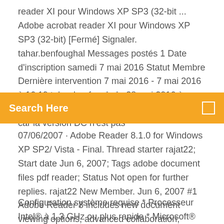reader XI pour Windows XP SP3 (32-bit ... Adobe acrobat reader XI pour Windows XP SP3 (32-bit) [Fermé] Signaler. tahar.benfoughal Messages postés 1 Date d'inscription samedi 7 mai 2016 Statut Membre Dernière intervention 7 mai 2016 - 7 mai 2016 à 16:19 tahar benfoughal - 28 mai 2016 à 12:27. Je n'arrive pas à trouver cette version ; car la version DC n'est pas
[Figure (other): Orange search bar with text 'Search Here' and a small square icon on the right]
07/06/2007 · Adobe Reader 8.1.0 for Windows XP SP2/ Vista - Final. Thread starter rajat22; Start date Jun 6, 2007; Tags adobe document files pdf reader; Status Not open for further replies. rajat22 New Member. Jun 6, 2007 #1 Adobe Reader 8 includes new document viewing options, advanced collaboration, increased time-saving ways to work with PDF files, and other new features to help you ...
Configuration système requise * Processeur Intel® à 1,3 GHz ou plus rapide * Microsoft® Windows® XP Professionnel ou